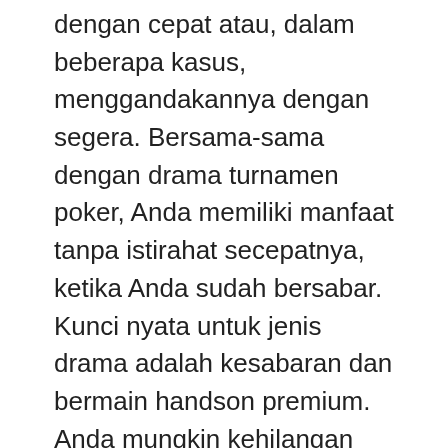dengan cepat atau, dalam beberapa kasus, menggandakannya dengan segera. Bersama-sama dengan drama turnamen poker, Anda memiliki manfaat tanpa istirahat secepatnya, ketika Anda sudah bersabar. Kunci nyata untuk jenis drama adalah kesabaran dan bermain handson premium. Anda mungkin kehilangan tirai Anda tetapi dalam jangka panjang Anda masih akan berada dalam situasi yang baik untuk mendapatkan meja final.
Setelah jeda kedua, kami bertiga tertinggal di kejuaraan dan saya memimpin bersama lawan saya sendiri. Tumpukan kami cukup adil, hanya sedikit lebih tinggi dari milik saya. Saya telah berada di sekitar big blind dengan sepasang saku 3s. Lawan saya sedikit mengangkat orang buta dan saya memanggil, karena secara signifikan lebih dari sepertiga pot ini. Untuk kegagalan datang 33A. Jelas jiwaku melompat dan mengetahuinya dengan lembut. Saya telah